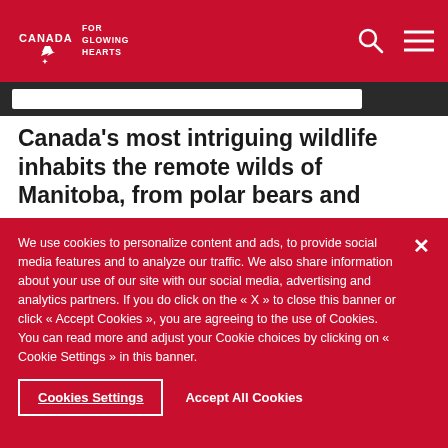Canada FOR GLOWING HEARTS
Canada's most intriguing wildlife inhabits the remote wilds of Manitoba, from polar bears and
We use cookies to personalize content and ads, to provide social media features and to analyze our traffic. We also share information about your use of our site with our social media, advertising and analytics partners. If you do click on the « X » to close this banner or click « Accept Cookies », you are agreeing to the use of Cookies. You can read more and adjust your Cookie choices by clicking on « Cookie Settings » in this banner.
Cookies Settings   Accept All Cookies